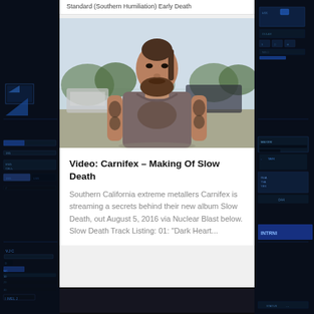Standard (Southern Humiliation) Early Death
[Figure (photo): A tattooed man with a beard and ponytail wearing a gray tank top, standing outdoors at what appears to be a festival parking area with trees and vehicles in the background.]
Video: Carnifex – Making Of Slow Death
Southern California extreme metallers Carnifex is streaming a secrets behind their new album Slow Death, out August 5, 2016 via Nuclear Blast below. Slow Death Track Listing: 01: "Dark Heart...
[Figure (photo): Partial bottom image, appears dark/black, cut off at page bottom.]